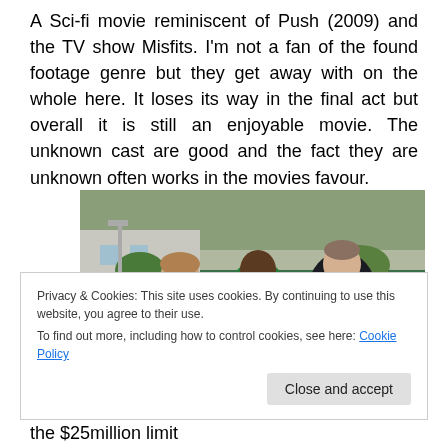A Sci-fi movie reminiscent of Push (2009) and the TV show Misfits. I'm not a fan of the found footage genre but they get away with on the whole here. It loses its way in the final act but overall it is still an enjoyable movie. The unknown cast are good and the fact they are unknown often works in the movies favour.
[Figure (photo): Three young men standing outdoors, one wearing a green varsity jacket, one in a grey hoodie looking at a device, and one in a dark jacket laughing. Appears to be a still from a movie.]
Privacy & Cookies: This site uses cookies. By continuing to use this website, you agree to their use.
To find out more, including how to control cookies, see here: Cookie Policy
the $25million limit